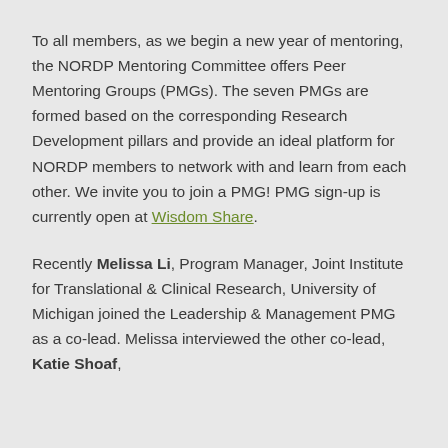To all members, as we begin a new year of mentoring, the NORDP Mentoring Committee offers Peer Mentoring Groups (PMGs). The seven PMGs are formed based on the corresponding Research Development pillars and provide an ideal platform for NORDP members to network with and learn from each other. We invite you to join a PMG! PMG sign-up is currently open at Wisdom Share.
Recently Melissa Li, Program Manager, Joint Institute for Translational & Clinical Research, University of Michigan joined the Leadership & Management PMG as a co-lead. Melissa interviewed the other co-lead, Katie Shoaf,